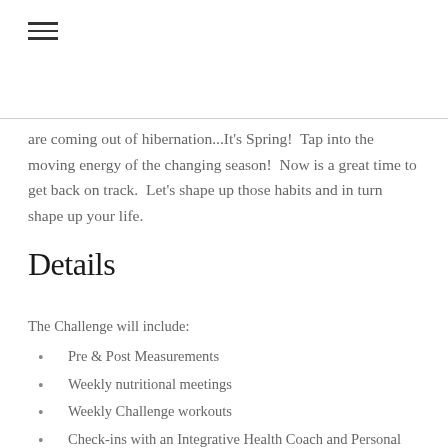[Figure (other): Hamburger menu icon with three horizontal lines]
are coming out of hibernation...It's Spring!  Tap into the moving energy of the changing season!  Now is a great time to get back on track.  Let's shape up those habits and in turn shape up your life.
Details
The Challenge will include:
Pre & Post Measurements
Weekly nutritional meetings
Weekly Challenge workouts
Check-ins with an Integrative Health Coach and Personal Trainer.
Discounts on Fitness Packages
Additional classes for Challenge Members
Awards given for the most inch loss and points